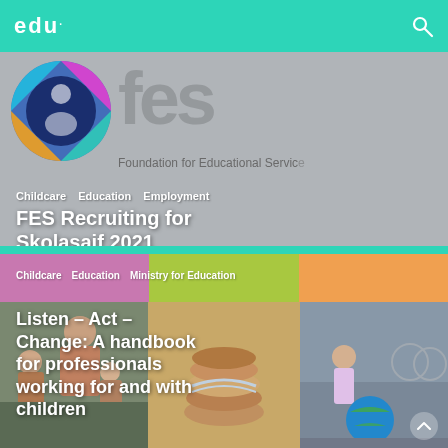edu
[Figure (screenshot): FES (Foundation for Educational Services) banner image with logo featuring colorful circular design and large grey FES text, with tags Childcare, Education, Employment and title FES Recruiting for Skolasajf 2021]
Childcare  Education  Employment
FES Recruiting for Skolasajf 2021
[Figure (photo): Three-panel photo card showing: left panel with woman and children, center panel with stacked hands, right panel with child and globe ball on street]
Childcare  Education  Ministry for Education
Listen – Act – Change: A handbook for professionals working for and with children